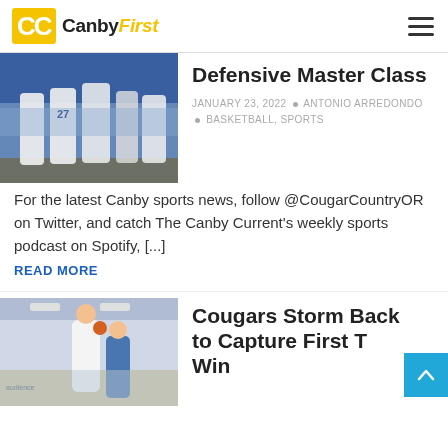CanbyFirst
[Figure (photo): Basketball players in white uniforms on a court with bleachers in the background]
Defensive Master Class
JANUARY 23, 2022 • ANTONIO ARREDONDO • BASKETBALL, SPORTS
For the latest Canby sports news, follow @CougarCountryOR on Twitter, and catch The Canby Current's weekly sports podcast on Spotify, [...]
READ MORE
[Figure (photo): Basketball player jumping to shoot in an indoor gymnasium]
Cougars Storm Back to Capture First T... Win